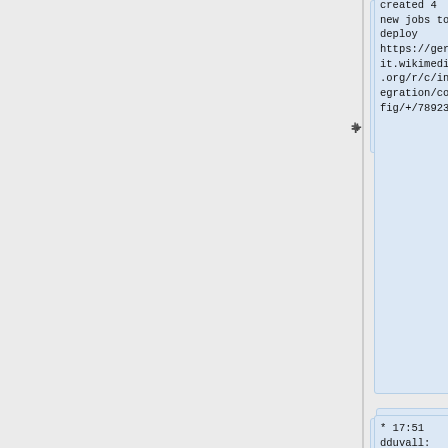created 4 new jobs to deploy https://gerrit.wikimedia.org/r/c/integration/config/+/789237
* 17:51 dduvall: created 4 new jobs to deploy https://gerrit.wikimedia.org/r/c/integration/config/+/789225
* 17:22 dduvall: Reloading